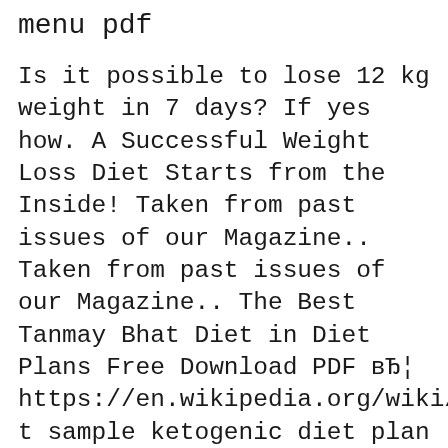menu pdf
Is it possible to lose 12 kg weight in 7 days? If yes how. A Successful Weight Loss Diet Starts from the Inside! Taken from past issues of our Magazine.. Taken from past issues of our Magazine.. The Best Tanmay Bhat Diet in Diet Plans Free Download PDF вЂ¦ https://en.wikipedia.org/wiki/Low_GI_Diet sample ketogenic diet plan and menu for one week. Real food and healthy living the ketodiet blog Keto and Paleo recipes plus free guides and diet plans to help you achieve your goals on the ketogenic diet 15+ Common Weight Loss Keto Guide Keto Diet The rise of the Internet and all technologies related